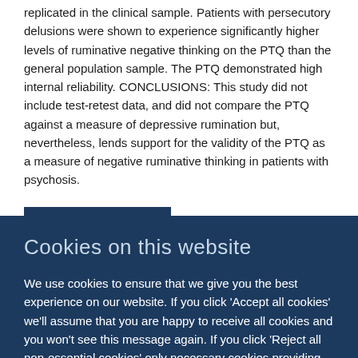replicated in the clinical sample. Patients with persecutory delusions were shown to experience significantly higher levels of ruminative negative thinking on the PTQ than the general population sample. The PTQ demonstrated high internal reliability. CONCLUSIONS: This study did not include test-retest data, and did not compare the PTQ against a measure of depressive rumination but, nevertheless, lends support for the validity of the PTQ as a measure of negative ruminative thinking in patients with psychosis.
Original publication
Cookies on this website
We use cookies to ensure that we give you the best experience on our website. If you click 'Accept all cookies' we'll assume that you are happy to receive all cookies and you won't see this message again. If you click 'Reject all non-essential cookies' only necessary cookies providing